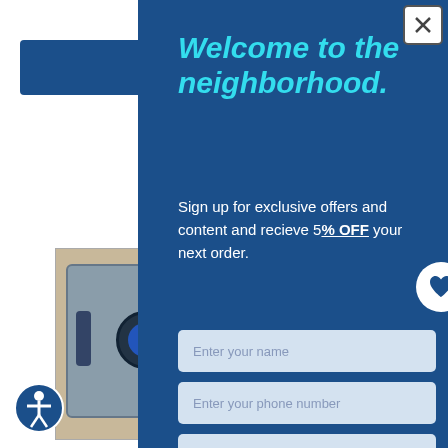[Figure (screenshot): Website background showing navigation bar and product image of a Sentry safe on wooden surface, partially covered by modal popup]
Welcome to the neighborhood.
Sign up for exclusive offers and content and recieve 5% OFF your next order.
Enter your name
Enter your phone number
The SentryS... and Waterp... interior ligh... uables in... protection s...